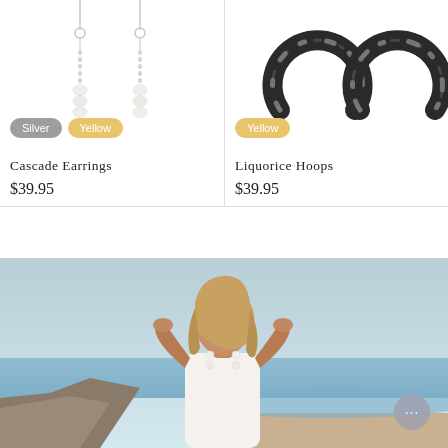[Figure (photo): Cascade pearl drop earrings on white background with Silver and Yellow color swatches]
[Figure (photo): Liquorice black and white tortoise shell hoop earrings on white background with Yellow color swatch]
Cascade Earrings
$39.95
Liquorice Hoops
$39.95
[Figure (photo): Lifestyle photo of a blonde woman wearing pearl jewelry at a beach setting, hands raised to her head, rocky coastline in background]